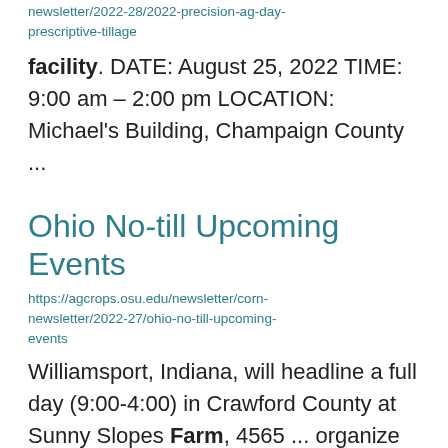newsletter/2022-28/2022-precision-ag-day-prescriptive-tillage
facility. DATE: August 25, 2022 TIME: 9:00 am – 2:00 pm LOCATION: Michael's Building, Champaign County ...
Ohio No-till Upcoming Events
https://agcrops.osu.edu/newsletter/corn-newsletter/2022-27/ohio-no-till-upcoming-events
Williamsport, Indiana, will headline a full day (9:00-4:00) in Crawford County at Sunny Slopes Farm, 4565 ... organize the program. The location is the Randall Horst farm, 1145 Morgan Rd, Zanesville, OH 43701. Eight ... cover crop plots were tilled after planting to...